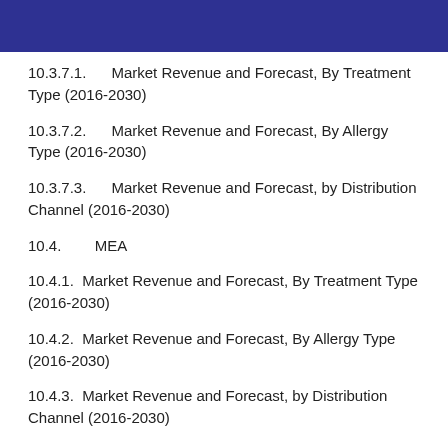10.3.7.1. Market Revenue and Forecast, By Treatment Type (2016-2030)
10.3.7.2. Market Revenue and Forecast, By Allergy Type (2016-2030)
10.3.7.3. Market Revenue and Forecast, by Distribution Channel (2016-2030)
10.4. MEA
10.4.1. Market Revenue and Forecast, By Treatment Type (2016-2030)
10.4.2. Market Revenue and Forecast, By Allergy Type (2016-2030)
10.4.3. Market Revenue and Forecast, by Distribution Channel (2016-2030)
10.4.4. GCC
10.4.4.1. Market Revenue and Forecast, By...